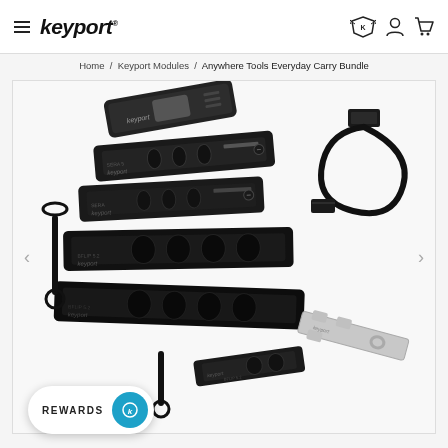keyport® — navigation header with hamburger menu, logo, badge icon, account icon, cart icon
Home / Keyport Modules / Anywhere Tools Everyday Carry Bundle
[Figure (photo): Product photo showing the Anywhere Tools Everyday Carry Bundle by Keyport: multiple black EDC tool modules including USB drives, multi-tools with holes, a USB-A to Micro-USB cable coiled, a zipper pull lanyard, and a silver bottle-opener/multi-tool, all arranged on a white background.]
REWARDS